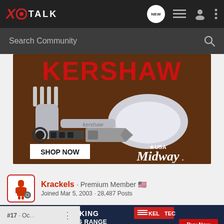XO TALK
Search Community
[Figure (photo): Kershaw multi-tool spork and utility tool advertisement with SHOP NOW button and MidwayUSA logo on brown background]
Krackels · Premium Member 🇺🇸
Joined Mar 5, 2003 · 28,487 Posts
[Figure (photo): Kel-Tec CP33 pistol advertisement: SEEKING LONG RANGE RELATIONSHIP, Buy Now button]
#17 · Oc...